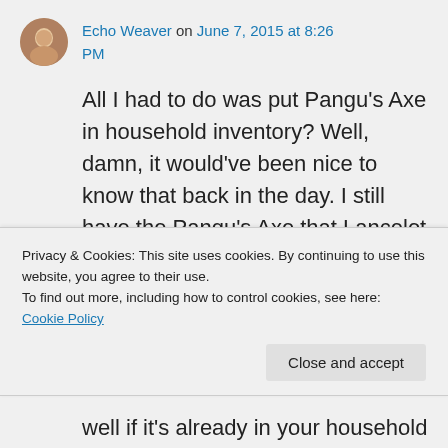Echo Weaver on June 7, 2015 at 8:26 PM
All I had to do was put Pangu’s Axe in household inventory? Well, damn, it would’ve been nice to know that back in the day. I still have the Pangu’s Axe that Lancelot got in Generation 2. When Charles went back to adventure in Generation 4, the fact that he already had the axe
Privacy & Cookies: This site uses cookies. By continuing to use this website, you agree to their use.
To find out more, including how to control cookies, see here: Cookie Policy
Close and accept
well if it’s already in your household